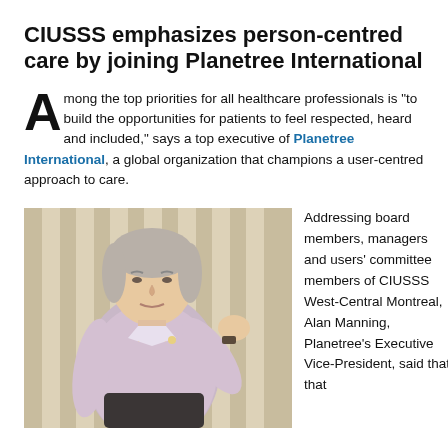CIUSSS emphasizes person-centred care by joining Planetree International
Among the top priorities for all healthcare professionals is "to build the opportunities for patients to feel respected, heard and included," says a top executive of Planetree International, a global organization that champions a user-centred approach to care.
[Figure (photo): A middle-aged man in a light pink/lavender dress shirt speaking and gesturing with his right hand, standing in front of curtains. He appears to be presenting to an audience.]
Addressing board members, managers and users' committee members of CIUSSS West-Central Montreal, Alan Manning, Planetree's Executive Vice-President, said that that...